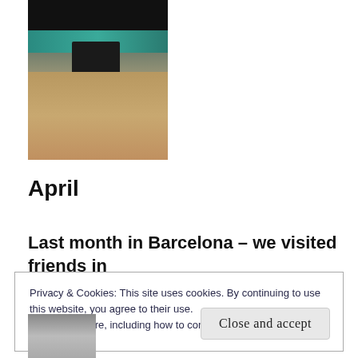[Figure (photo): A photograph showing a person sitting at a table in what appears to be a café or indoor venue with teal/green architectural elements and a wooden floor.]
April
Last month in Barcelona – we visited friends in
Privacy & Cookies: This site uses cookies. By continuing to use this website, you agree to their use.
To find out more, including how to control cookies, see here:
Cookie Policy
[Figure (photo): A partial photograph visible at the bottom of the page.]